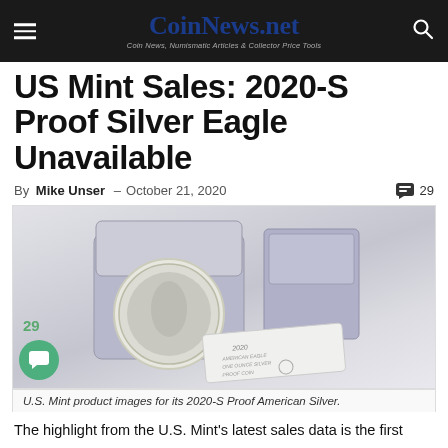CoinNews.net — Coin News, Numismatic Articles & Collector Price Tools
US Mint Sales: 2020-S Proof Silver Eagle Unavailable
By Mike Unser - October 21, 2020  💬 29
[Figure (photo): U.S. Mint product images showing the 2020-S Proof American Silver Eagle coin in presentation case with box and certificate of authenticity]
U.S. Mint product images for its 2020-S Proof American Silver.
The highlight from the U.S. Mint's latest sales data is the first